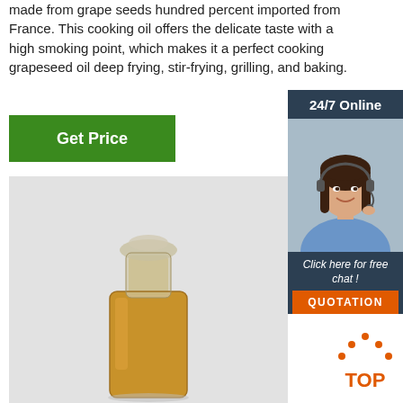made from grape seeds hundred percent imported from France. This cooking oil offers the delicate taste with a high smoking point, which makes it a perfect cooking grapeseed oil deep frying, stir-frying, grilling, and baking.
[Figure (other): Green 'Get Price' button]
[Figure (other): 24/7 Online chat widget with woman wearing headset, 'Click here for free chat!' text, and orange QUOTATION button]
[Figure (photo): Glass bottle filled with golden/amber grapeseed oil on light grey background]
[Figure (other): Orange TOP badge/logo with dots forming a house shape above the word TOP]